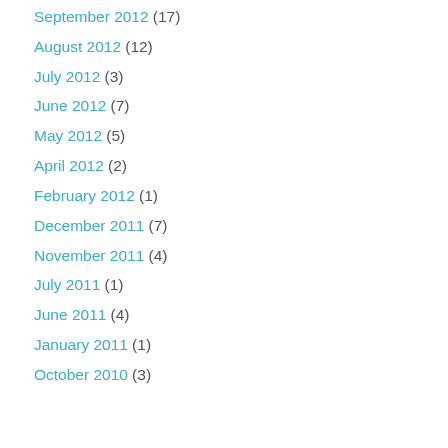September 2012 (17)
August 2012 (12)
July 2012 (3)
June 2012 (7)
May 2012 (5)
April 2012 (2)
February 2012 (1)
December 2011 (7)
November 2011 (4)
July 2011 (1)
June 2011 (4)
January 2011 (1)
October 2010 (3)